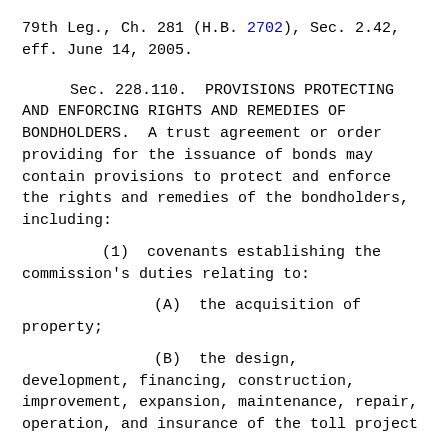79th Leg., Ch. 281 (H.B. 2702), Sec. 2.42, eff. June 14, 2005.
Sec. 228.110. PROVISIONS PROTECTING AND ENFORCING RIGHTS AND REMEDIES OF BONDHOLDERS. A trust agreement or order providing for the issuance of bonds may contain provisions to protect and enforce the rights and remedies of the bondholders, including:
(1) covenants establishing the commission's duties relating to:
(A) the acquisition of property;
(B) the design, development, financing, construction, improvement, expansion, maintenance, repair, operation, and insurance of the toll project